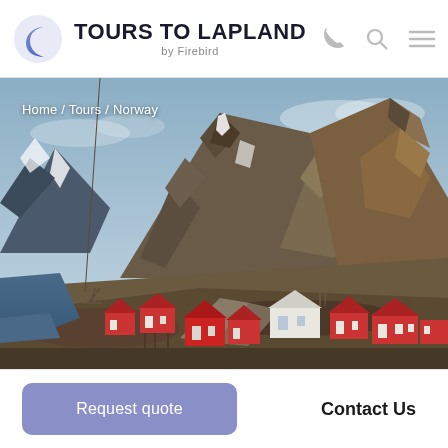TOURS TO LAPLAND by Firebird
[Figure (photo): Norwegian landscape with dramatic rocky mountains and snow patches above a small coastal village with traditional red wooden houses, viewed from above. Breadcrumb navigation overlay: Home / Tours / Norway]
Request quote
Contact Us